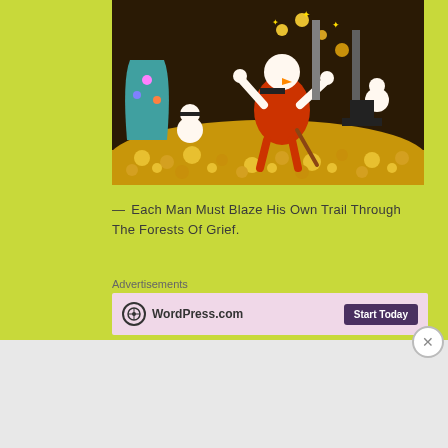[Figure (illustration): Cartoon illustration of Scrooge McDuck jumping in a pile of gold coins in his money bin, with huey, dewey, and louie ducks around him and jewels/treasures in the background]
— Each Man Must Blaze His Own Trail Through The Forests Of Grief.
Advertisements
[Figure (screenshot): WordPress.com advertisement with logo and Start Today button on pink background]
Advertisements
[Figure (screenshot): Teachable advertisement showing Teach freely - Make money selling online courses on dark background]